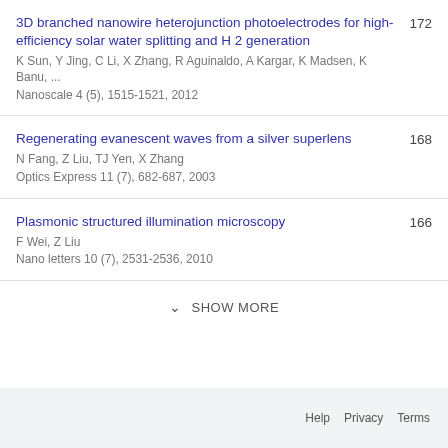3D branched nanowire heterojunction photoelectrodes for high-efficiency solar water splitting and H 2 generation
K Sun, Y Jing, C Li, X Zhang, R Aguinaldo, A Kargar, K Madsen, K Banu, ...
Nanoscale 4 (5), 1515-1521, 2012
172
Regenerating evanescent waves from a silver superlens
N Fang, Z Liu, TJ Yen, X Zhang
Optics Express 11 (7), 682-687, 2003
168
Plasmonic structured illumination microscopy
F Wei, Z Liu
Nano letters 10 (7), 2531-2536, 2010
166
SHOW MORE
Help  Privacy  Terms